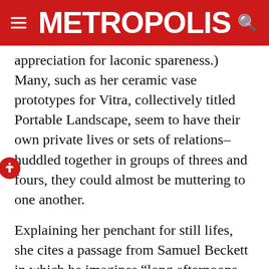METROPOLIS
appreciation for laconic spareness.) Many, such as her ceramic vase prototypes for Vitra, collectively titled Portable Landscape, seem to have their own private lives or sets of relations–huddled together in groups of threes and fours, they could almost be muttering to one another.
Explaining her penchant for still lifes, she cites a passage from Samuel Beckett in which he imagines “long afternoons together” with a beloved stool and other “familiar objects.” Jeglińska adds, as if to